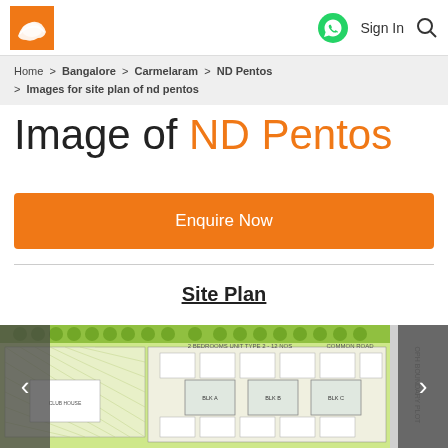Sign In
Home > Bangalore > Carmelaram > ND Pentos > Images for site plan of nd pentos
Image of ND Pentos
Enquire Now
Site Plan
[Figure (engineering-diagram): Site plan layout diagram of ND Pentos residential project showing building blocks, units, landscaping with trees, parking areas, and roads. Two main building blocks visible with labeled units. Green landscaping surrounds the perimeter.]